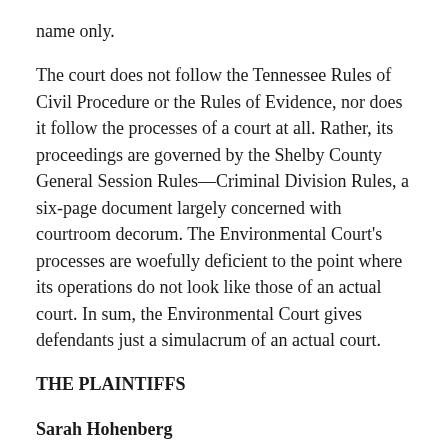name only.
The court does not follow the Tennessee Rules of Civil Procedure or the Rules of Evidence, nor does it follow the processes of a court at all. Rather, its proceedings are governed by the Shelby County General Session Rules—Criminal Division Rules, a six-page document largely concerned with courtroom decorum. The Environmental Court's processes are woefully deficient to the point where its operations do not look like those of an actual court. In sum, the Environmental Court gives defendants just a simulacrum of an actual court.
THE PLAINTIFFS
Sarah Hohenberg
From the mid-1990's until 2018, Sarah Hohenberg owned her home at 1905 Overton Park outright, with no